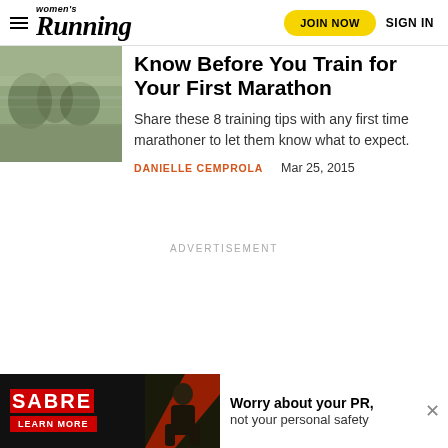Women's Running — JOIN NOW  SIGN IN
[Figure (photo): Blurred photo of runners on a track or road, outdoor scene with green/grey tones]
Know Before You Train for Your First Marathon
Share these 8 training tips with any first time marathoner to let them know what to expect.
DANIELLE CEMPROLA    Mar 25, 2015
ADVERTISEMENT
[Figure (photo): SABRE advertisement banner: person in dark clothing with red diagonal graphic. Text: Worry about your PR, not your personal safety. LEARN MORE button.]